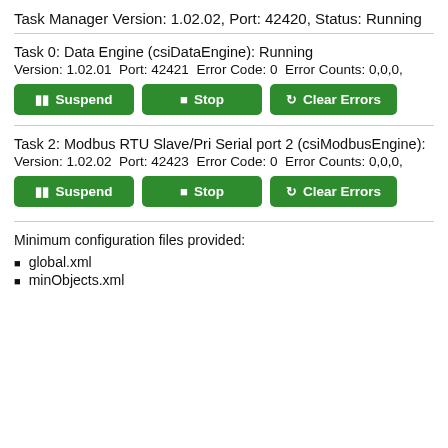Task Manager Version: 1.02.02, Port: 42420, Status: Running
Task 0: Data Engine (csiDataEngine): Running
Version: 1.02.01  Port: 42421  Error Code: 0  Error Counts: 0,0,0,
[Figure (screenshot): Three green buttons: Suspend, Stop, Clear Errors]
Task 2: Modbus RTU Slave/Pri Serial port 2 (csiModbusEngine):
Version: 1.02.02  Port: 42423  Error Code: 0  Error Counts: 0,0,0,
[Figure (screenshot): Three green buttons: Suspend, Stop, Clear Errors]
Minimum configuration files provided:
global.xml
minObjects.xml